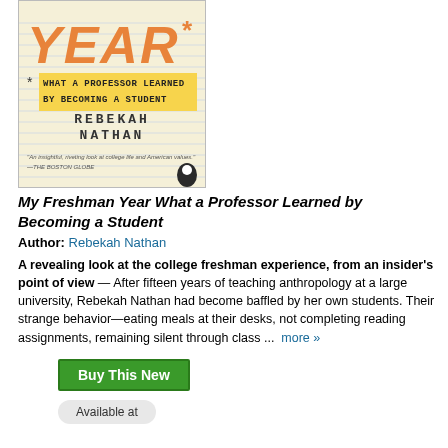[Figure (illustration): Book cover of 'My Freshman Year: What a Professor Learned by Becoming a Student' by Rebekah Nathan. Yellow-lined paper background, large orange italic 'YEAR*' text, yellow highlighted subtitle text, author name in monospace, and a Penguin Books logo. Boston Globe quote at bottom.]
My Freshman Year What a Professor Learned by Becoming a Student
Author: Rebekah Nathan
A revealing look at the college freshman experience, from an insider's point of view — After fifteen years of teaching anthropology at a large university, Rebekah Nathan had become baffled by her own students. Their strange behavior—eating meals at their desks, not completing reading assignments, remaining silent through class ... more »
Buy This New
Available at